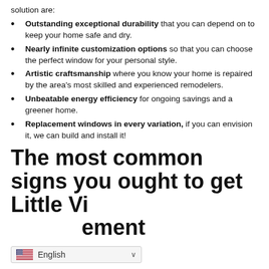solution are:
Outstanding exceptional durability that you can depend on to keep your home safe and dry.
Nearly infinite customization options so that you can choose the perfect window for your personal style.
Artistic craftsmanship where you know your home is repaired by the area's most skilled and experienced remodelers.
Unbeatable energy efficiency for ongoing savings and a greener home.
Replacement windows in every variation, if you can envision it, we can build and install it!
The most common signs you ought to get Little Vi…ement